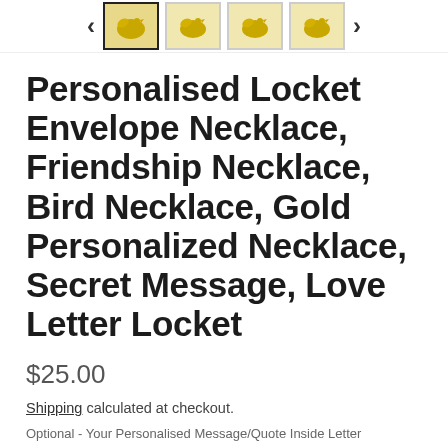[Figure (screenshot): Thumbnail navigation bar with left arrow, four product thumbnail images of a gold bird locket necklace, and right arrow]
Personalised Locket Envelope Necklace, Friendship Necklace, Bird Necklace, Gold Personalized Necklace, Secret Message, Love Letter Locket
$25.00
Shipping calculated at checkout.
Optional - Your Personalised Message/Quote Inside Letter